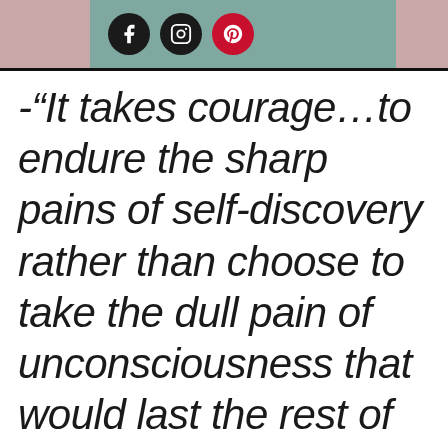Social media icons: Facebook, Instagram, Pinterest
-“It takes courage…to endure the sharp pains of self-discovery rather than choose to take the dull pain of unconsciousness that would last the rest of